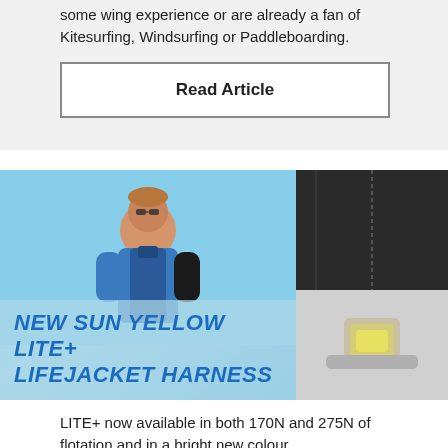some wing experience or are already a fan of Kitesurfing, Windsurfing or Paddleboarding.
Read Article
[Figure (photo): A man wearing sunglasses and a blue jacket overlaid with text 'NEW SUN YELLOW LITE+ LIFEJACKET HARNESS', alongside a close-up of lifejacket harness equipment in gray and yellow]
LITE+ now available in both 170N and 275N of flotation and in a bright new colour.